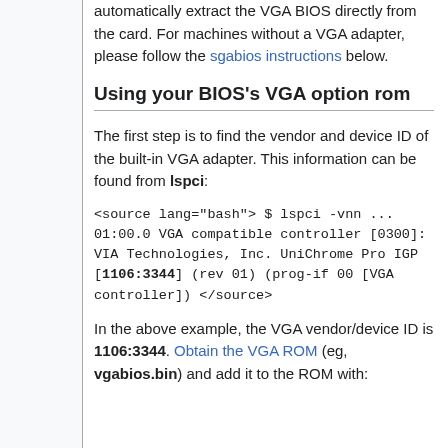automatically extract the VGA BIOS directly from the card. For machines without a VGA adapter, please follow the sgabios instructions below.
Using your BIOS's VGA option rom
The first step is to find the vendor and device ID of the built-in VGA adapter. This information can be found from lspci:
<source lang="bash"> $ lspci -vnn ... 01:00.0 VGA compatible controller [0300]: VIA Technologies, Inc. UniChrome Pro IGP [1106:3344] (rev 01) (prog-if 00 [VGA controller]) </source>
In the above example, the VGA vendor/device ID is 1106:3344. Obtain the VGA ROM (eg, vgabios.bin) and add it to the ROM with: